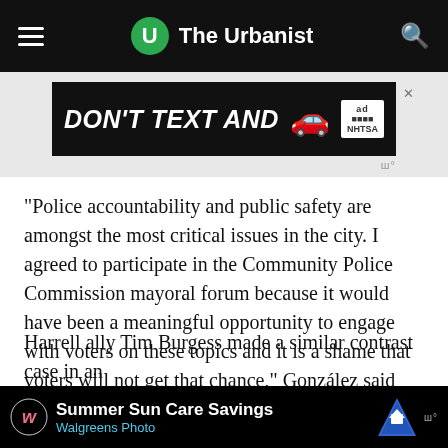The Urbanist
[Figure (screenshot): Ad banner: DON'T TEXT AND [car emoji] with NHTSA logo]
“Police accountability and public safety are amongst the most critical issues in the city. I agreed to participate in the Community Police Commission mayoral forum because it would have been a meaningful opportunity to engage with voters on these topics and it is a shame that voters will not get that chance,” González said via email. “I plan to continue making these issues a central focus of my campaign.”
Harrell ally Tim Burgess made a similar contrast case in an…
[Figure (screenshot): Bottom ad: Summer Sun Care Savings - Walgreens Photo]